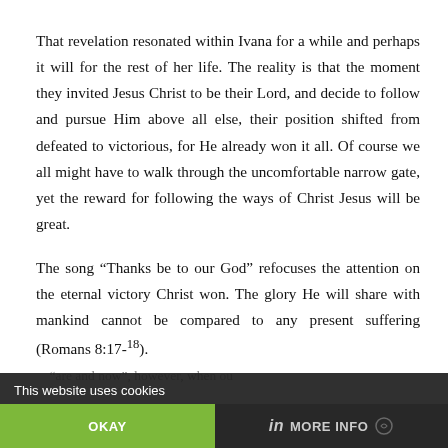That revelation resonated within Ivana for a while and perhaps it will for the rest of her life. The reality is that the moment they invited Jesus Christ to be their Lord, and decide to follow and pursue Him above all else, their position shifted from defeated to victorious, for He already won it all. Of course we all might have to walk through the uncomfortable narrow gate, yet the reward for following the ways of Christ Jesus will be great.
The song “Thanks be to our God” refocuses the attention on the eternal victory Christ won. The glory He will share with mankind cannot be compared to any present suffering (Romans 8:17-18).
This website uses cookies